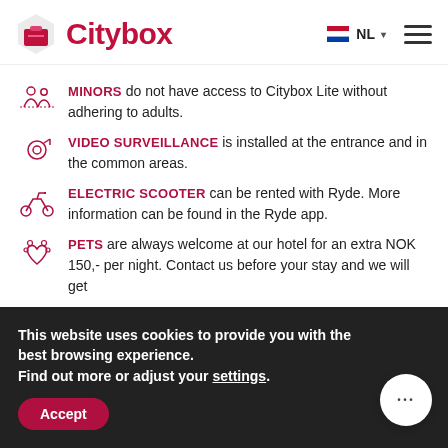Citybox — NL (header with logo and navigation)
MINORS do not have access to Citybox Lite without adhering to adults.
VIDEO SURVEILLANCE is installed at the entrance and in the common areas.
ELECTRIC SCOOTER can be rented with Ryde. More information can be found in the Ryde app.
PETS are always welcome at our hotel for an extra NOK 150,- per night. Contact us before your stay and we will get
This website uses cookies to provide you with the best browsing experience. Find out more or adjust your settings.
Accept